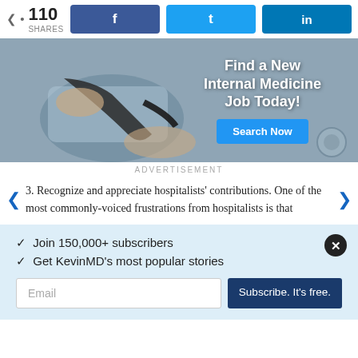[Figure (infographic): Social share bar with share count 110 SHARES and Facebook, Twitter, LinkedIn buttons]
[Figure (photo): Advertisement banner: Find a New Internal Medicine Job Today! with Search Now button. Background shows hands taking blood pressure measurement.]
ADVERTISEMENT
3. Recognize and appreciate hospitalists' contributions. One of the most commonly-voiced frustrations from hospitalists is that
✓ Join 150,000+ subscribers
✓ Get KevinMD's most popular stories
Email | Subscribe. It's free.